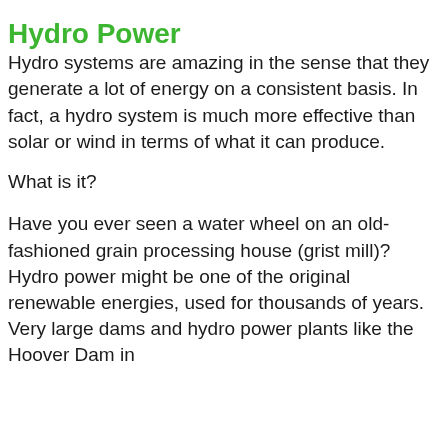Hydro Power
Hydro systems are amazing in the sense that they generate a lot of energy on a consistent basis. In fact, a hydro system is much more effective than solar or wind in terms of what it can produce.
What is it?
Have you ever seen a water wheel on an old-fashioned grain processing house (grist mill)? Hydro power might be one of the original renewable energies, used for thousands of years. Very large dams and hydro power plants like the Hoover Dam in